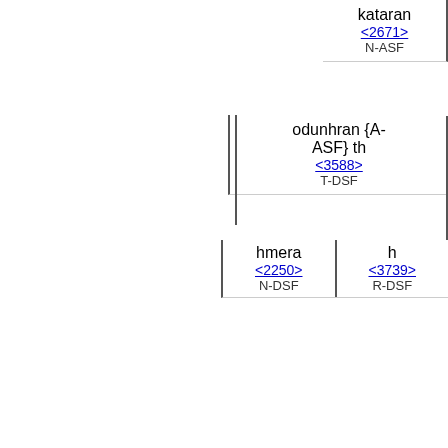kataran <2671> N-ASF
odunhran {A-ASF} th <3588> T-DSF
hmera <2250> N-DSF | h <3739> R-DSF
eporeuomhn <4198> V-IMI-1S
eiv <1519> PREP
parembolav {N-APF} kai <2532> CONJ
autov <846> D-NSM
katebb